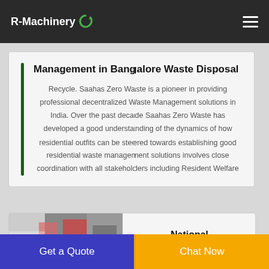R-Machinery
Management in Bangalore Waste Disposal
Recycle. Saahas Zero Waste is a pioneer in providing professional decentralized Waste Management solutions in India. Over the past decade Saahas Zero Waste has developed a good understanding of the dynamics of how residential outfits can be steered towards establishing good residential waste management solutions involves close coordination with all stakeholders including Resident Welfare
National
Get a Quote
Chat Now